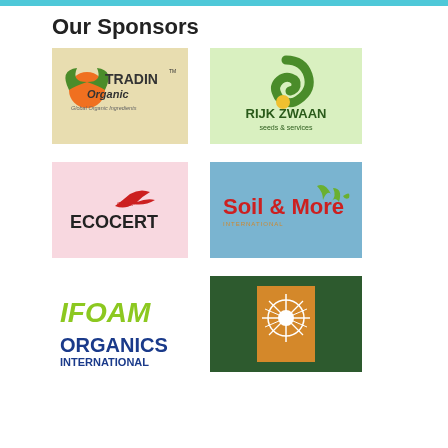Our Sponsors
[Figure (logo): Tradin Organic - Global Organic Ingredients logo on beige background]
[Figure (logo): Rijk Zwaan seeds & services logo on light green background]
[Figure (logo): Ecocert Group logo on pink background]
[Figure (logo): Soil & More International logo on blue background]
[Figure (logo): IFOAM Organics International logo on white background]
[Figure (logo): Sunburst/book logo on dark green background]